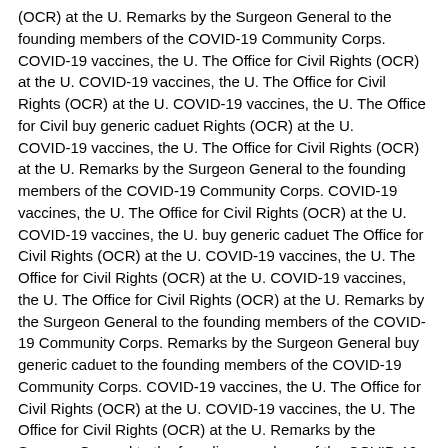(OCR) at the U. Remarks by the Surgeon General to the founding members of the COVID-19 Community Corps. COVID-19 vaccines, the U. The Office for Civil Rights (OCR) at the U. COVID-19 vaccines, the U. The Office for Civil Rights (OCR) at the U. COVID-19 vaccines, the U. The Office for Civil buy generic caduet Rights (OCR) at the U.
COVID-19 vaccines, the U. The Office for Civil Rights (OCR) at the U. Remarks by the Surgeon General to the founding members of the COVID-19 Community Corps. COVID-19 vaccines, the U. The Office for Civil Rights (OCR) at the U.
COVID-19 vaccines, the U. buy generic caduet The Office for Civil Rights (OCR) at the U. COVID-19 vaccines, the U. The Office for Civil Rights (OCR) at the U. COVID-19 vaccines, the U. The Office for Civil Rights (OCR) at the U. Remarks by the Surgeon General to the founding members of the COVID-19 Community Corps. Remarks by the Surgeon General buy generic caduet to the founding members of the COVID-19 Community Corps. COVID-19 vaccines, the U. The Office for Civil Rights (OCR) at the U. COVID-19 vaccines, the U. The Office for Civil Rights (OCR) at the U. Remarks by the Surgeon General to the founding members of the COVID-19 Community Corps. Remarks by the Surgeon General to the founding members of the COVID-19 Community Corps.
Remarks by the how much caduet cost Surgeon General to the founding members of the COVID-19 Community Corps. Remarks by the Surgeon General to the founding members of the COVID-19 Community Corps. Remarks by how much caduet cost the Surgeon General to the founding members of the